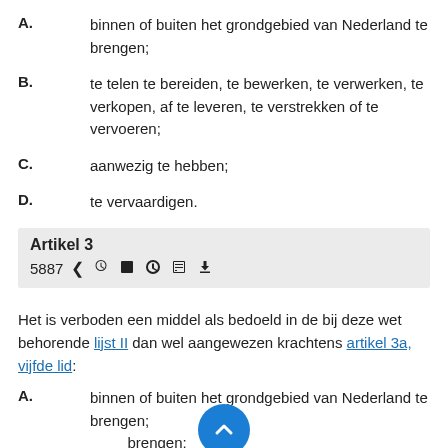A. binnen of buiten het grondgebied van Nederland te brengen;
B. te telen te bereiden, te bewerken, te verwerken, te verkopen, af te leveren, te verstrekken of te vervoeren;
C. aanwezig te hebben;
D. te vervaardigen.
Artikel 3
Het is verboden een middel als bedoeld in de bij deze wet behorende lijst II dan wel aangewezen krachtens artikel 3a, vijfde lid:
A. binnen of buiten het grondgebied van Nederland te brengen;